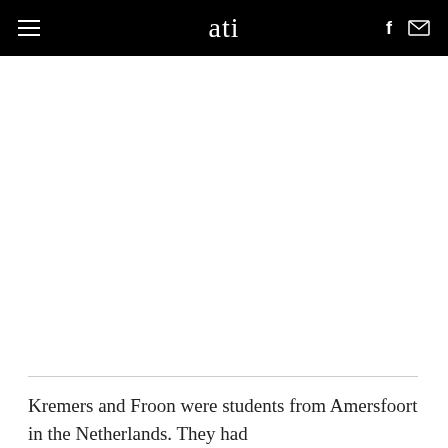ati
[Figure (photo): White/blank image area below the ATI header navigation bar]
Kremers and Froon were students from Amersfoort in the Netherlands. They had